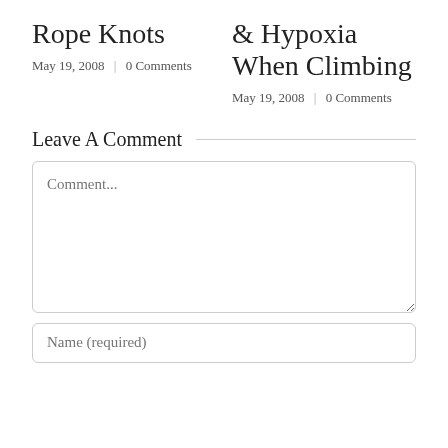Rope Knots
May 19, 2008  |  0 Comments
& Hypoxia When Climbing
May 19, 2008  |  0 Comments
Leave A Comment
Comment...
Name (required)